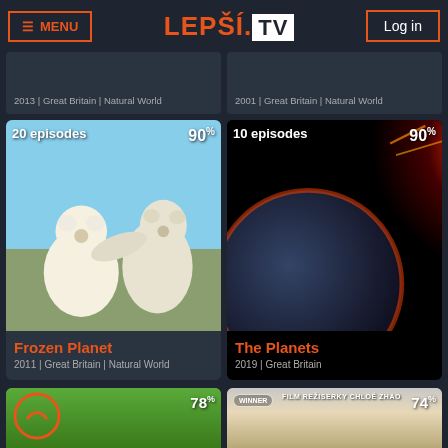[Figure (screenshot): Lepší.TV website header with orange menu button, orange logo, and Login button]
[Figure (screenshot): Partially visible card top: year Great Britain Natural World metadata]
[Figure (screenshot): Partially visible card top: 2001 Great Britain Natural World metadata]
[Figure (photo): Frozen Planet show card with polar bears, 20 episodes, 90% rating]
Frozen Planet
2011 | Great Britain | Natural World
[Figure (photo): The Planets show card with sun image, 10 episodes, 90% rating]
The Planets
2019 | Great Britain
[Figure (photo): Bottom left card: child lying on grass, 78% rating]
[Figure (photo): Bottom right card: film by Chloe Zhao, 74% rating, winner badge]